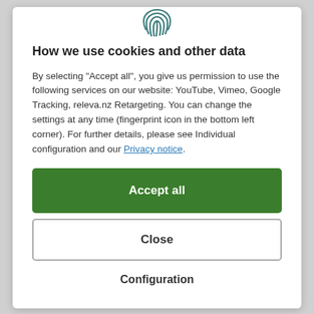[Figure (illustration): Fingerprint icon in dark teal at the top center of the modal dialog]
How we use cookies and other data
By selecting "Accept all", you give us permission to use the following services on our website: YouTube, Vimeo, Google Tracking, releva.nz Retargeting. You can change the settings at any time (fingerprint icon in the bottom left corner). For further details, please see Individual configuration and our Privacy notice.
Accept all
Close
Configuration